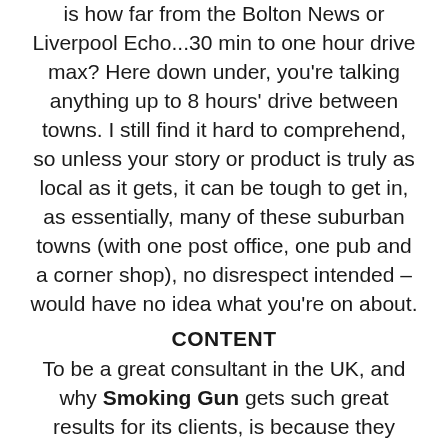is how far from the Bolton News or Liverpool Echo...30 min to one hour drive max? Here down under, you're talking anything up to 8 hours' drive between towns. I still find it hard to comprehend, so unless your story or product is truly as local as it gets, it can be tough to get in, as essentially, many of these suburban towns (with one post office, one pub and a corner shop), no disrespect intended – would have no idea what you're on about.
CONTENT
To be a great consultant in the UK, and why Smoking Gun gets such great results for its clients, is because they know the media inside-out. They know where you fit, where you don't and if you don't how to make it happen. Here down under it's no different and the biggest